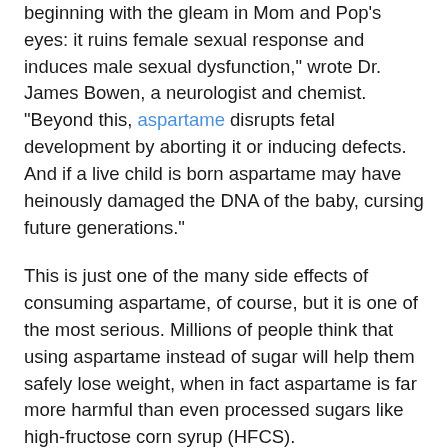beginning with the gleam in Mom and Pop's eyes: it ruins female sexual response and induces male sexual dysfunction," wrote Dr. James Bowen, a neurologist and chemist. "Beyond this, aspartame disrupts fetal development by aborting it or inducing defects. And if a live child is born aspartame may have heinously damaged the DNA of the baby, cursing future generations."
This is just one of the many side effects of consuming aspartame, of course, but it is one of the most serious. Millions of people think that using aspartame instead of sugar will help them safely lose weight, when in fact aspartame is far more harmful than even processed sugars like high-fructose corn syrup (HFCS).
"Both amino acids in aspartame freely enter the arcuate nucleus (at low dose), cause inappropriate release of